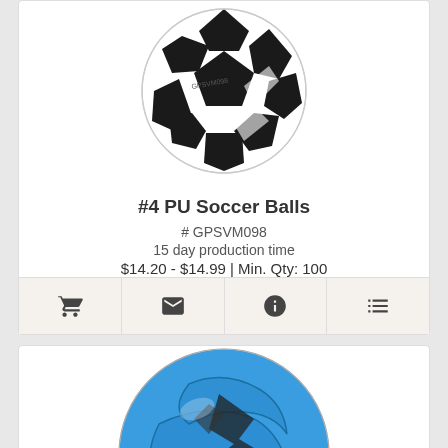[Figure (photo): Black and white star-patterned PU soccer ball, top portion of product card]
#4 PU Soccer Balls
# GPSVM098
15 day production time
$14.20 - $14.99 | Min. Qty: 100
[Figure (infographic): Action bar with four icons: shopping cart, envelope, info, and list/details]
[Figure (photo): Blue soccer ball with black graphic design, bottom product card, partially visible]